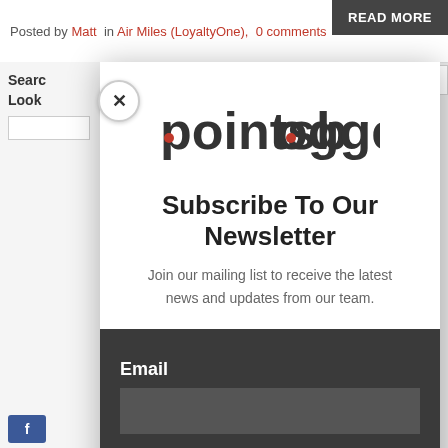Posted by Matt in Air Miles (LoyaltyOne), 0 comments READ MORE
[Figure (logo): pointsbogger logo — brand name in dark gray with red dot accents on letters p and o]
Subscribe To Our Newsletter
Join our mailing list to receive the latest news and updates from our team.
Email
SUBSCRIBE!